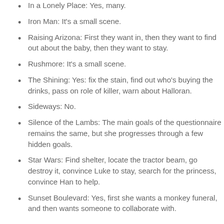In a Lonely Place: Yes, many.
Iron Man: It's a small scene.
Raising Arizona: First they want in, then they want to find out about the baby, then they want to stay.
Rushmore: It's a small scene.
The Shining: Yes: fix the stain, find out who's buying the drinks, pass on role of killer, warn about Halloran.
Sideways: No.
Silence of the Lambs: The main goals of the questionnaire remains the same, but she progresses through a few hidden goals.
Star Wars: Find shelter, locate the tractor beam, go destroy it, convince Luke to stay, search for the princess, convince Han to help.
Sunset Boulevard: Yes, first she wants a monkey funeral, and then wants someone to collaborate with.